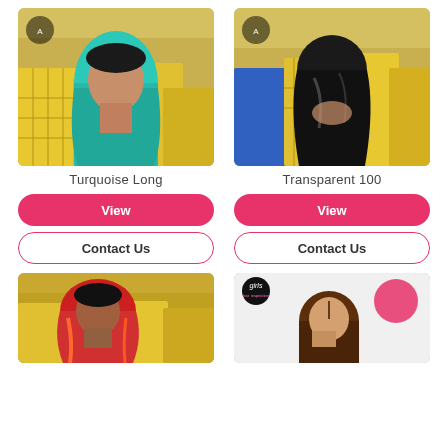[Figure (photo): Mannequin head wearing a long turquoise/teal wig, shown in a warehouse with yellow storage crates]
[Figure (photo): Mannequin head wearing a long straight black wig showing back view, in a warehouse with yellow crates]
Turquoise Long
Transparent 100
View
View
Contact Us
Contact Us
[Figure (photo): Mannequin head wearing a long red/orange ombre wig, in warehouse with yellow crates]
[Figure (photo): Mannequin head wearing a brown wig with brand logo visible and a pink circle graphic element]